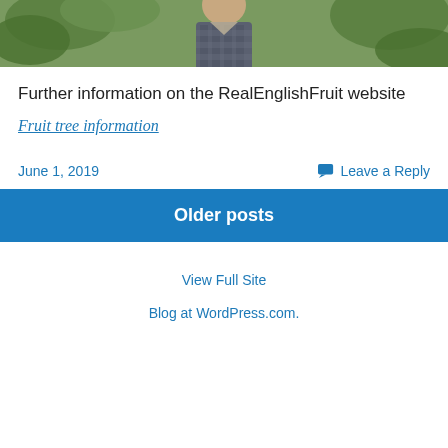[Figure (photo): Photograph of a man in a checkered jacket among fruit trees with green foliage]
Further information on the RealEnglishFruit website
Fruit tree information
June 1, 2019
Leave a Reply
Older posts
View Full Site
Blog at WordPress.com.